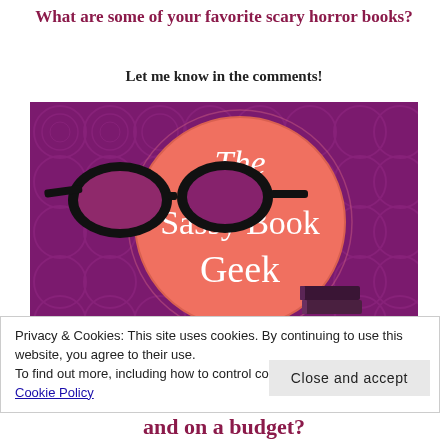What are some of your favorite scary horror books?
Let me know in the comments!
[Figure (logo): The Sassy Book Geek logo: purple/magenta patterned background with a large salmon-colored circle containing cursive white text 'The Sassy Book Geek', black oversized reading glasses on the left, and a stack of books on the bottom right.]
Privacy & Cookies: This site uses cookies. By continuing to use this website, you agree to their use.
To find out more, including how to control cookies, see here: Cookie Policy
Close and accept
and on a budget?